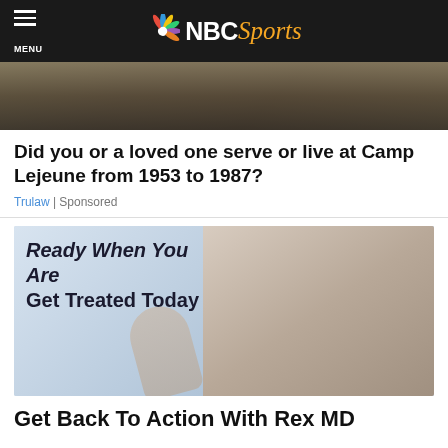NBC Sports
[Figure (photo): Partial view of a camping or outdoor scene with dark tones, cut off at top]
Did you or a loved one serve or live at Camp Lejeune from 1953 to 1987?
Trulaw | Sponsored
[Figure (photo): Advertisement image with text 'Ready When You Are Get Treated Today' overlaid on photo of smiling man holding a pill, with woman in background]
Get Back To Action With Rex MD